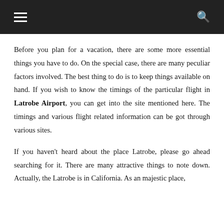≡  🔍
Before you plan for a vacation, there are some more essential things you have to do. On the special case, there are many peculiar factors involved. The best thing to do is to keep things available on hand. If you wish to know the timings of the particular flight in Latrobe Airport, you can get into the site mentioned here. The timings and various flight related information can be got through various sites.
If you haven't heard about the place Latrobe, please go ahead searching for it. There are many attractive things to note down. Actually, the Latrobe is in California. As an majestic place,